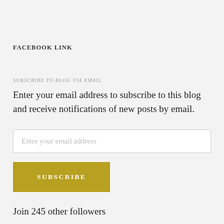FACEBOOK LINK
SUBSCRIBE TO BLOG VIA EMAIL
Enter your email address to subscribe to this blog and receive notifications of new posts by email.
Enter your email address
SUBSCRIBE
Join 245 other followers